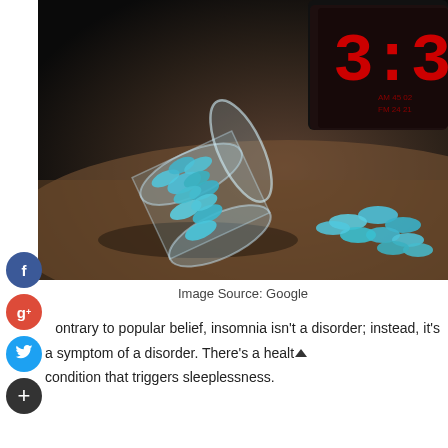[Figure (photo): Photo of blue oval pills spilling out of a clear glass jar, with a red LED digital clock showing 3:30 in the background on a dark wooden surface]
Image Source: Google
Contrary to popular belief, insomnia isn't a disorder; instead, it's a symptom of a disorder. There's a health condition that triggers sleeplessness.